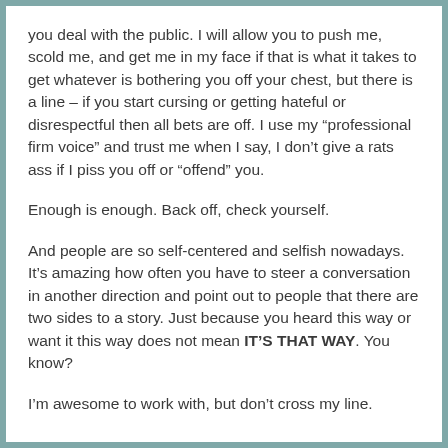you deal with the public. I will allow you to push me, scold me, and get me in my face if that is what it takes to get whatever is bothering you off your chest, but there is a line – if you start cursing or getting hateful or disrespectful then all bets are off. I use my “professional firm voice” and trust me when I say, I don’t give a rats ass if I piss you off or “offend” you.
Enough is enough. Back off, check yourself.
And people are so self-centered and selfish nowadays. It’s amazing how often you have to steer a conversation in another direction and point out to people that there are two sides to a story. Just because you heard this way or want it this way does not mean IT’S THAT WAY. You know?
I’m awesome to work with, but don’t cross my line.